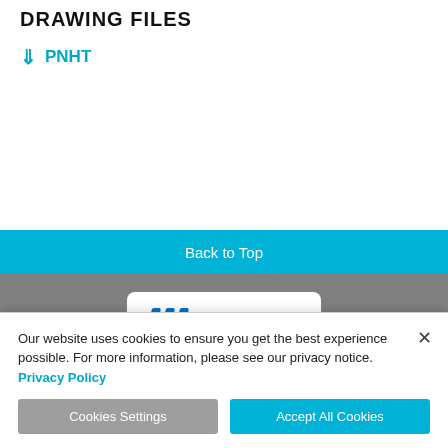DRAWING FILES
PNHT
Back to Top
[Figure (logo): Meltric company logo with blue stylized triple-stripe M icon and dark blue MELTRIC wordmark on white rounded rectangle background]
4765 W. Oakwood Park Drive
Our website uses cookies to ensure you get the best experience possible. For more information, please see our privacy notice. Privacy Policy
Cookies Settings  Accept All Cookies